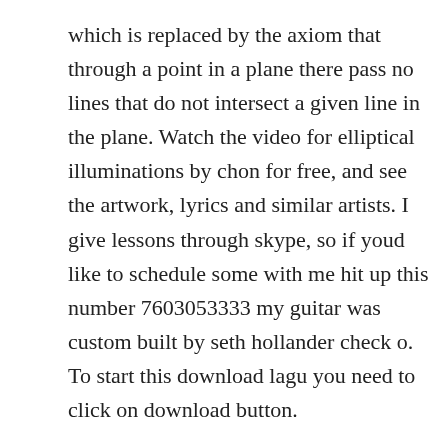which is replaced by the axiom that through a point in a plane there pass no lines that do not intersect a given line in the plane. Watch the video for elliptical illuminations by chon for free, and see the artwork, lyrics and similar artists. I give lessons through skype, so if youd like to schedule some with me hit up this number 7603053333 my guitar was custom built by seth hollander check o. To start this download lagu you need to click on download button.
Elliptical illuminations guitar pro tab chon